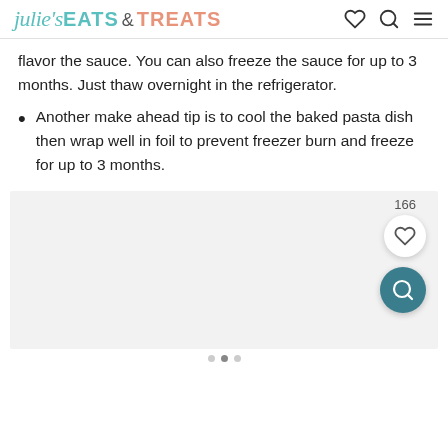julie's EATS & TREATS
flavor the sauce. You can also freeze the sauce for up to 3 months. Just thaw overnight in the refrigerator.
Another make ahead tip is to cool the baked pasta dish then wrap well in foil to prevent freezer burn and freeze for up to 3 months.
[Figure (photo): Gray image placeholder area with floating heart (166 likes) and search buttons]